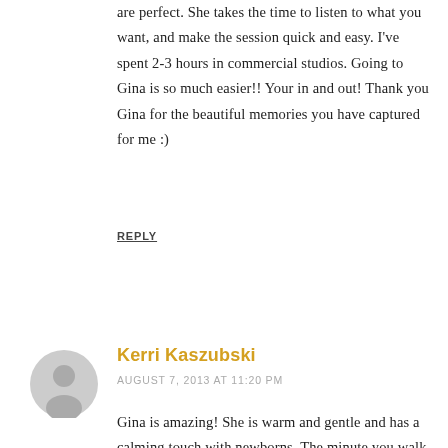are perfect. She takes the time to listen to what you want, and make the session quick and easy. I've spent 2-3 hours in commercial studios. Going to Gina is so much easier!! Your in and out! Thank you Gina for the beautiful memories you have captured for me :)
REPLY
[Figure (illustration): Generic gray user avatar icon — a circle with a simplified silhouette of a person's head and shoulders]
Kerri Kaszubski
AUGUST 7, 2013 AT 11:20 PM
Gina is amazing! She is warm and gentle and has a calming touch with newborns. The minute you walk in her door, she makes you feel like you have know her for years. Her creatively and talent creates the most angelic and gorgeous pictures that I have ever seen. After my daughter's newborn session in July, I